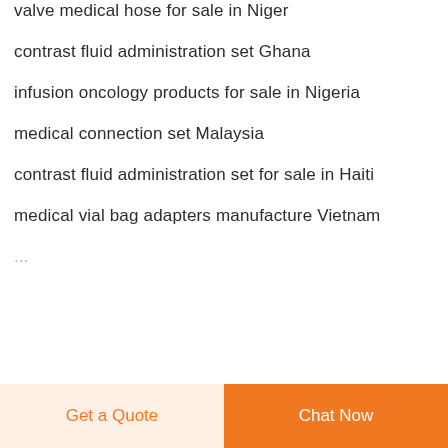valve medical hose for sale in Niger
contrast fluid administration set Ghana
infusion oncology products for sale in Nigeria
medical connection set Malaysia
contrast fluid administration set for sale in Haiti
medical vial bag adapters manufacture Vietnam
...
Get a Quote | Chat Now